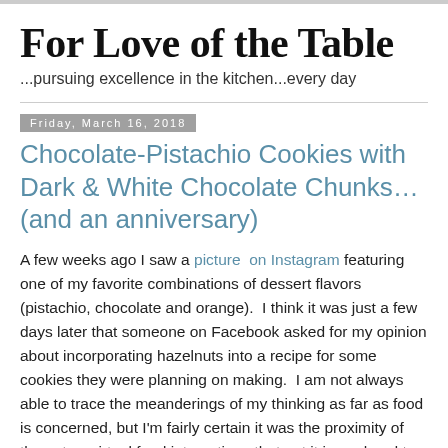For Love of the Table
...pursuing excellence in the kitchen...every day
Friday, March 16, 2018
Chocolate-Pistachio Cookies with Dark & White Chocolate Chunks…(and an anniversary)
A few weeks ago I saw a picture  on Instagram featuring one of my favorite combinations of dessert flavors (pistachio, chocolate and orange).  I think it was just a few days later that someone on Facebook asked for my opinion about incorporating hazelnuts into a recipe for some cookies they were planning on making.  I am not always able to trace the meanderings of my thinking as far as food is concerned, but I'm fairly certain it was the proximity of these two virtual food interactions that put it in my head to rework an old chocolate